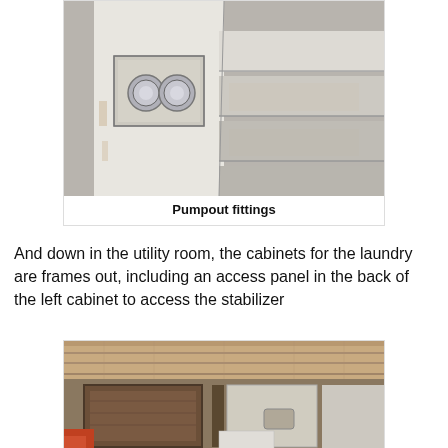[Figure (photo): Interior view of a boat utility area showing white painted walls and steps, with two circular pumpout fittings (deck plates) mounted in a recessed panel. The area appears to be in a marine vessel with white fiberglass/gelcoat surfaces.]
Pumpout fittings
And down in the utility room, the cabinets for the laundry are frames out, including an access panel in the back of the left cabinet to access the stabilizer
[Figure (photo): Interior view of a boat utility room showing wooden cabinet frames (laundry cabinets) under construction, with wood-paneled doors visible and exposed ceiling/overhead structure above.]